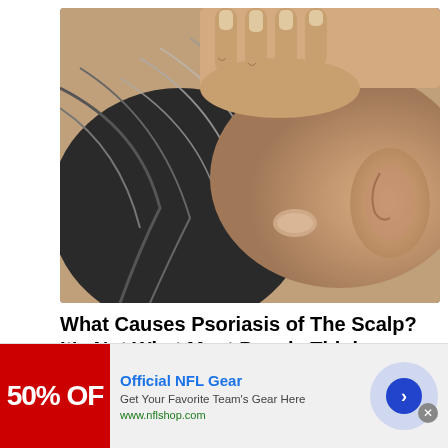[Figure (photo): Close-up photo of a person's scalp and neck area being examined, showing gray hair and skin with what appears to be psoriasis patches, with hands touching the scalp]
What Causes Psoriasis of The Scalp? It’s Not What Most People Think
Psoriasis | Search Ads
[Figure (photo): Partially visible second image at the bottom of the article]
Official NFL Gear
Get Your Favorite Team’s Gear Here
www.nflshop.com